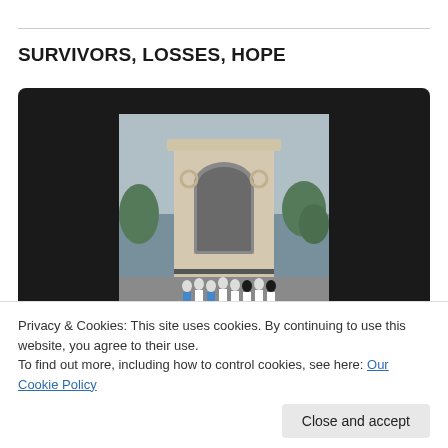SURVIVORS, LOSSES, HOPE
[Figure (photo): A group of people standing in front of a large stone arch monument with an arched opening, on an overcast day. The people are wearing white t-shirts. The photo appears as a video thumbnail centered in a black video player frame.]
Privacy & Cookies: This site uses cookies. By continuing to use this website, you agree to their use.
To find out more, including how to control cookies, see here: Our Cookie Policy
Close and accept